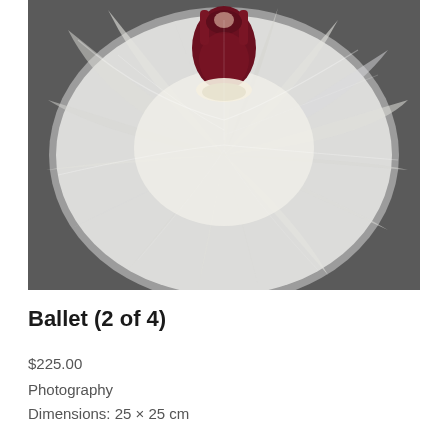[Figure (photo): Aerial/top-down view of a ballet dancer wearing a dark maroon/burgundy leotard with a large white tutu spread out around them, photographed from above against a grey floor background.]
Ballet (2 of 4)
$225.00
Photography
Dimensions: 25 × 25 cm